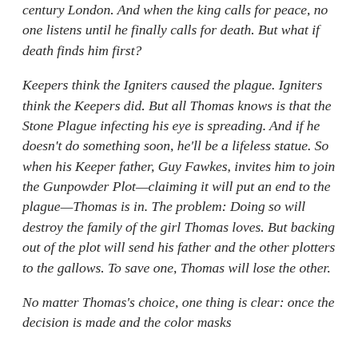century London. And when the king calls for peace, no one listens until he finally calls for death. But what if death finds him first?
Keepers think the Igniters caused the plague. Igniters think the Keepers did. But all Thomas knows is that the Stone Plague infecting his eye is spreading. And if he doesn't do something soon, he'll be a lifeless statue. So when his Keeper father, Guy Fawkes, invites him to join the Gunpowder Plot—claiming it will put an end to the plague—Thomas is in. The problem: Doing so will destroy the family of the girl Thomas loves. But backing out of the plot will send his father and the other plotters to the gallows. To save one, Thomas will lose the other.
No matter Thomas's choice, one thing is clear: once the decision is made and the color masks